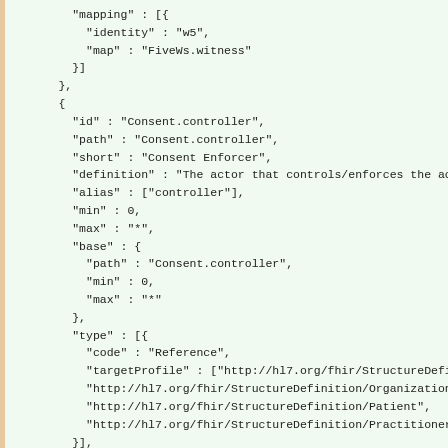JSON code snippet showing FHIR Consent resource structure definition including mapping, Consent.controller field with id, path, short, definition, alias, min, max, base, type with Reference and targetProfile URLs, and constraint beginning